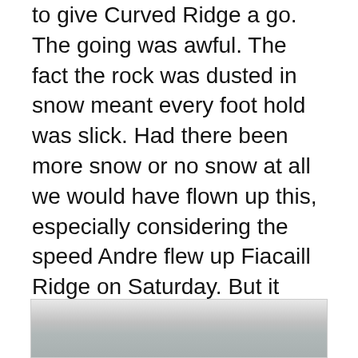to give Curved Ridge a go. The going was awful. The fact the rock was dusted in snow meant every foot hold was slick. Had there been more snow or no snow at all we would have flown up this, especially considering the speed Andre flew up Fiacaill Ridge on Saturday. But it hampered our progress significantly. There were a couple of moments of “why the feck do we bother” but once at the top we realised it was actually good fun despite there being no views at all.  The descent was horrendous. You had to think about every step and more often than not you’d be slipping on something. We eventually made it down in one piece.
[Figure (photo): Partial photograph showing a grey/overcast mountain or snowy scene, cropped at the bottom of the page.]